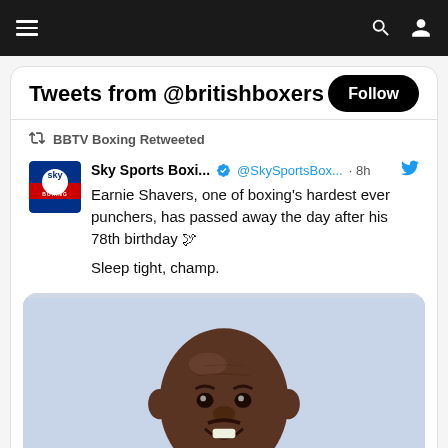Navigation bar with hamburger menu, search and user icons
Tweets from @britishboxers
BBTV Boxing Retweeted
Sky Sports Boxi... @SkySportsBox... · 8h
Earnie Shavers, one of boxing's hardest ever punchers, has passed away the day after his 78th birthday 🕊

Sleep tight, champ.
[Figure (photo): Portrait photo of Earnie Shavers, a bald Black man smiling, bare-shouldered, against a light blue/grey background]